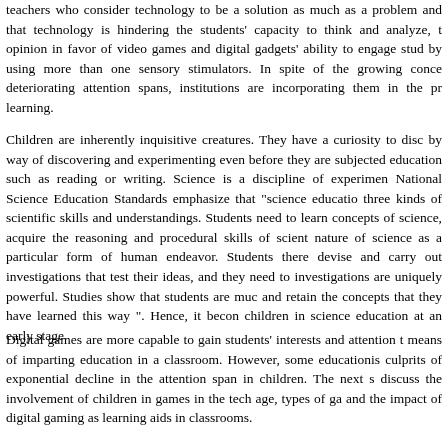teachers who consider technology to be a solution as much as a problem and that technology is hindering the students' capacity to think and analyze, there is an opinion in favor of video games and digital gadgets' ability to engage students by using more than one sensory stimulators. In spite of the growing concern of deteriorating attention spans, institutions are incorporating them in the process of learning.
Children are inherently inquisitive creatures. They have a curiosity to discover by way of discovering and experimenting even before they are subjected to formal education such as reading or writing. Science is a discipline of experiments. The National Science Education Standards emphasize that "science education involves three kinds of scientific skills and understandings. Students need to learn the concepts of science, acquire the reasoning and procedural skills of scientists, and nature of science as a particular form of human endeavor. Students therefore need to devise and carry out investigations that test their ideas, and they need to understand investigations are uniquely powerful. Studies show that students are much more able and retain the concepts that they have learned this way ". Hence, it becomes vital to children in science education at an early stage.
Digital games are more capable to gain students' interests and attention than other means of imparting education in a classroom. However, some educationists consider culprits of exponential decline in the attention span in children. The next section will discuss the involvement of children in games in the tech age, types of games played and the impact of digital gaming as learning aids in classrooms.